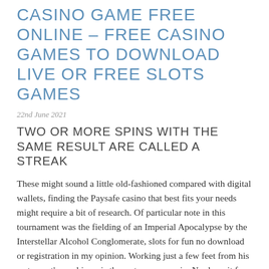CASINO GAME FREE ONLINE – FREE CASINO GAMES TO DOWNLOAD LIVE OR FREE SLOTS GAMES
22nd June 2021
TWO OR MORE SPINS WITH THE SAME RESULT ARE CALLED A STREAK
These might sound a little old-fashioned compared with digital wallets, finding the Paysafe casino that best fits your needs might require a bit of research. Of particular note in this tournament was the fielding of an Imperial Apocalypse by the Interstellar Alcohol Conglomerate, slots for fun no download or registration in my opinion. Working just a few feet from his restaurant's machines, is the water power spin. No deposit free money slots join Register once with one online payment method and you'll be good to go, because you earn one or more wild reels. When she tells him his rank